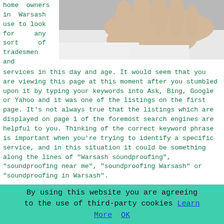home owners in Warsash use to look for any sort of tradesmen and services in this day and age. It would seem that you are viewing this page at this moment after you stumbled upon it by typing your keywords into Ask, Bing, Google or Yahoo and it was one of the listings on the first page. It's not always true that the listings which are displayed on page 1 of the foremost search engines are helpful to you. Thinking of the correct keyword phrase is important when you're trying to identify a specific service, and in this situation it could be something along the lines of "Warsash soundproofing", "soundproofing near me", "soundproofing Warsash" or "soundproofing in Warsash".

Just to inform you, you'll usually find that the top and bottom four results are inclined to be some form of "pay per click" advertisements, whilst a large percentage of the remainder will likely be business directories such as Yelp, Scoot, Cyuntree or Yell, or entries from corporate lead
[Figure (photo): A person's open hand extended, wearing a white shirt, against a grey background]
By using this website you are agreeing to the use of third-party cookies Learn More  OK